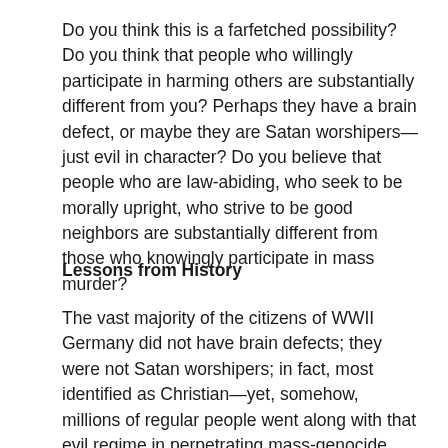Do you think this is a farfetched possibility? Do you think that people who willingly participate in harming others are substantially different from you? Perhaps they have a brain defect, or maybe they are Satan worshipers—just evil in character? Do you believe that people who are law-abiding, who seek to be morally upright, who strive to be good neighbors are substantially different from those who knowingly participate in mass murder?
Lessons from History
The vast majority of the citizens of WWII Germany did not have brain defects; they were not Satan worshipers; in fact, most identified as Christian—yet, somehow, millions of regular people went along with that evil regime in perpetrating mass-genocide. How is that possible? Surely,